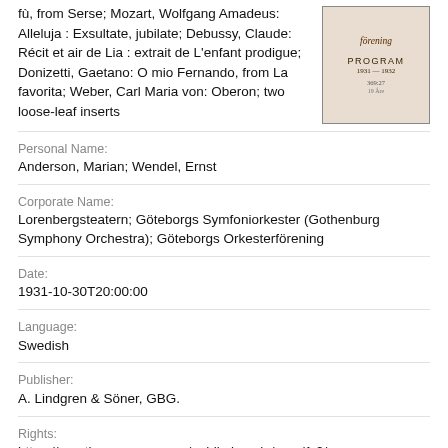fù, from Serse; Mozart, Wolfgang Amadeus: Alleluja : Exsultate, jubilate; Debussy, Claude: Récit et air de Lia : extrait de L'enfant prodigue; Donizetti, Gaetano: O mio Fernando, from La favorita; Weber, Carl Maria von: Oberon; two loose-leaf inserts
[Figure (photo): Book cover image with italic text and 'PROGRAM 1931-1932' printed on it]
Personal Name:
Anderson, Marian; Wendel, Ernst
Corporate Name:
Lorenbergsteatern; Göteborgs Symfoniorkester (Gothenburg Symphony Orchestra); Göteborgs Orkesterförening
Date:
1931-10-30T20:00:00
Language:
Swedish
Publisher:
A. Lindgren & Söner, GBG.
Rights:
https://creativecommons.org/publicdomain/zero/1.0/
Collection: